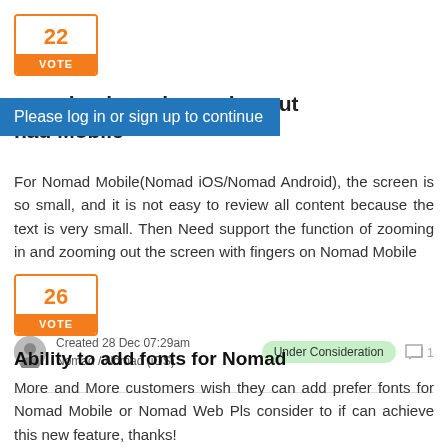[Figure (other): Vote box showing 22 votes with orange VOTE button]
zooming in and zooming out 
nad Mobile
Please log in or sign up to continue
For Nomad Mobile(Nomad iOS/Nomad Android), the screen is so small, and it is not easy to review all content because the text is very small. Then Need support the function of zooming in and zooming out the screen with fingers on Nomad Mobile
Created 28 Dec 07:29am
Nomad / Nomad (iOS)
Under Consideration
1
[Figure (other): Vote box showing 26 votes with orange VOTE button]
Ability to add fonts for Nomad
More and More customers wish they can add prefer fonts for Nomad Mobile or Nomad Web Pls consider to if can achieve this new feature, thanks!